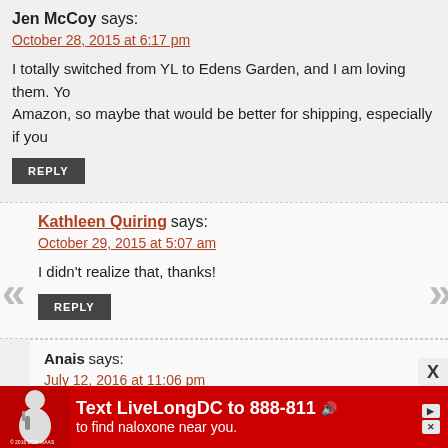Jen McCoy says:
October 28, 2015 at 6:17 pm
I totally switched from YL to Edens Garden, and I am loving them. Yo Amazon, so maybe that would be better for shipping, especially if you
REPLY
Kathleen Quiring says:
October 29, 2015 at 5:07 am
I didn't realize that, thanks!
REPLY
Anais says:
July 12, 2016 at 11:06 pm
I would be careful when buying off of amazing. You can
[Figure (infographic): Red advertisement banner: Text LiveLongDC to 888-811 to find naloxone near you.]